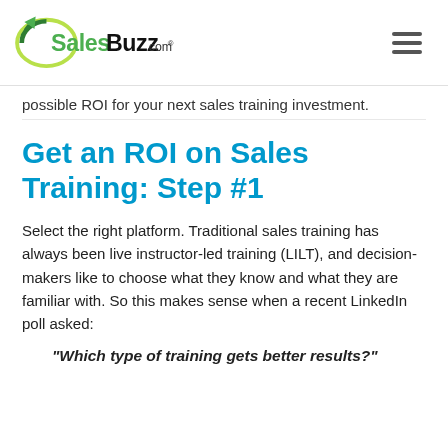SalesBuzz.com®
possible ROI for your next sales training investment.
Get an ROI on Sales Training: Step #1
Select the right platform. Traditional sales training has always been live instructor-led training (LILT), and decision-makers like to choose what they know and what they are familiar with. So this makes sense when a recent LinkedIn poll asked:
"Which type of training gets better results?"